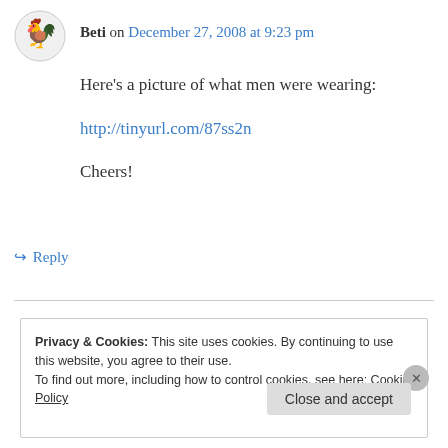Beti on December 27, 2008 at 9:23 pm
Here’s a picture of what men were wearing:
http://tinyurl.com/87ss2n
Cheers!
↳ Reply
Privacy & Cookies: This site uses cookies. By continuing to use this website, you agree to their use.
To find out more, including how to control cookies, see here: Cookie Policy
Close and accept